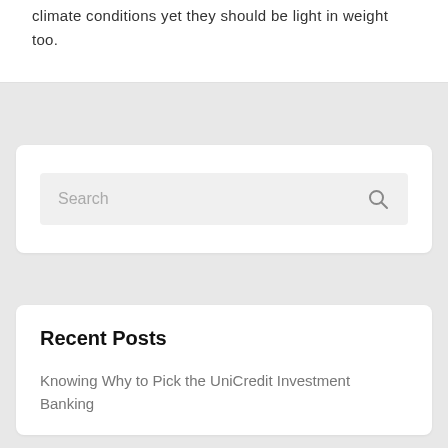climate conditions yet they should be light in weight too.
Search
Recent Posts
Knowing Why to Pick the UniCredit Investment Banking